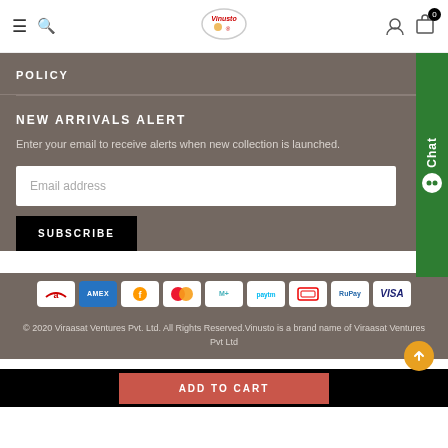Navigation bar with menu, search, logo, user icon, and cart (0)
POLICY
NEW ARRIVALS ALERT
Enter your email to receive alerts when new collection is launched.
Email address
SUBSCRIBE
[Figure (other): Payment method icons: Airtel, Amex, Freecharge, Mastercard, Mobikwik, Paytm, HDFC, RuPay, Visa]
© 2020 Viraasat Ventures Pvt. Ltd. All Rights Reserved.Vinusto is a brand name of Viraasat Ventures Pvt Ltd
ADD TO CART